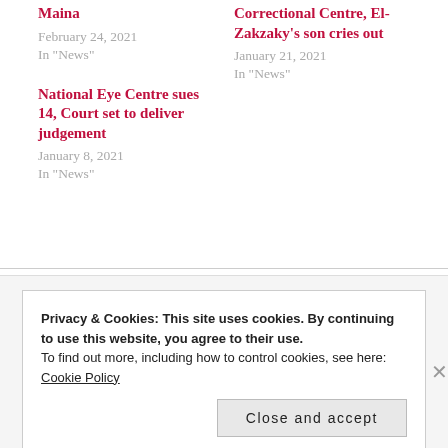Maina
February 24, 2021
In "News"
Correctional Centre, El-Zakzaky's son cries out
January 21, 2021
In "News"
National Eye Centre sues 14, Court set to deliver judgement
January 8, 2021
In "News"
Privacy & Cookies: This site uses cookies. By continuing to use this website, you agree to their use.
To find out more, including how to control cookies, see here:
Cookie Policy
Close and accept